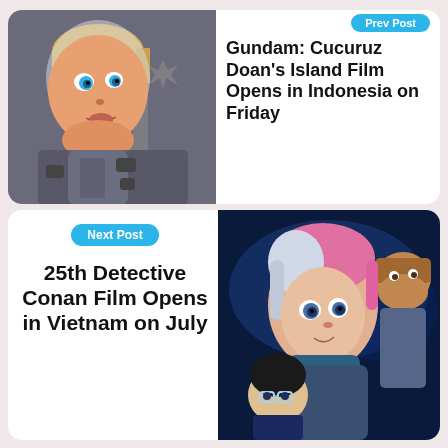[Figure (illustration): Anime-style illustration of a young blonde character in a space suit or armor, with blue eyes, against a mechanical background. Gundam related artwork.]
Gundam: Cucuruz Doan's Island Film Opens in Indonesia on Friday
Next Post
25th Detective Conan Film Opens in Vietnam on July
[Figure (illustration): Anime screenshot from Detective Conan film showing characters with pink and white hair and dark-haired characters against a blue background.]